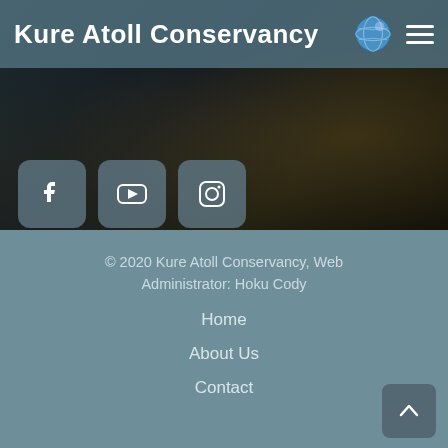Kure Atoll Conservancy
Kureatollconservancy@gmail.com
PO Box 1125 Volcano, HI 96785
[Figure (illustration): Social media buttons: Facebook, YouTube, Instagram]
© 2020 Kure Atoll Conservancy, Web Administrator: Hoku Cody
Home
About Us
Contact